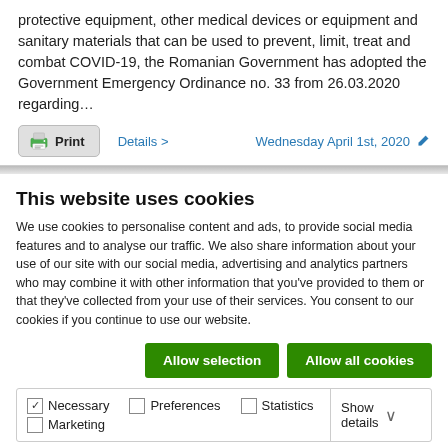protective equipment, other medical devices or equipment and sanitary materials that can be used to prevent, limit, treat and combat COVID-19, the Romanian Government has adopted the Government Emergency Ordinance no. 33 from 26.03.2020 regarding…
Details > | Wednesday April 1st, 2020 ✏ | 🖶 Print
This website uses cookies
We use cookies to personalise content and ads, to provide social media features and to analyse our traffic. We also share information about your use of our site with our social media, advertising and analytics partners who may combine it with other information that you've provided to them or that they've collected from your use of their services. You consent to our cookies if you continue to use our website.
Allow selection | Allow all cookies
☑ Necessary  ☐ Preferences  ☐ Statistics  ☐ Marketing | Show details ∨